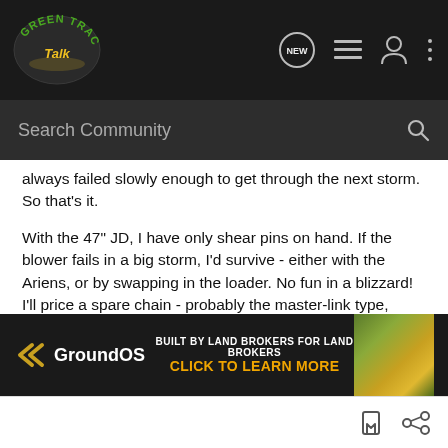[Figure (screenshot): Green Tractor Talk forum navigation bar with logo, NEW chat icon, list icon, user icon, and more icon]
[Figure (screenshot): Search Community search bar with magnifying glass icon]
always failed slowly enough to get through the next storm. So that's it.
With the 47" JD, I have only shear pins on hand. If the blower fails in a big storm, I'd survive - either with the Ariens, or by swapping in the loader. No fun in a blizzard! I'll price a spare chain - probably the master-link type, since I'd probably have to change it in the cold and perhaps at night. What other spares could be critical?
Oh, and I got a pair of snow pants. Makes a huge difference when it's windy. Not quite a cab, but with balaclava and goggles, pretty good protection.
[Figure (screenshot): GroundOS advertisement banner: BUILT BY LAND BROKERS FOR LAND BROKERS - CLICK TO LEARN MORE, with autumn landscape photo]